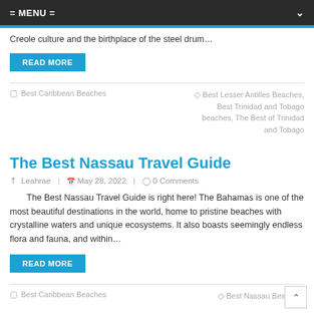= MENU =
Creole culture and the birthplace of the steel drum…
READ MORE
Best Caribbean Beaches | Best Lesser Antilles Beaches, Best Trinidad and Tobago beaches, The Best of Trinidad and Tobago
The Best Nassau Travel Guide
Leahrae | May 28, 2022 | 0 Comments
The Best Nassau Travel Guide is right here! The Bahamas is one of the most beautiful destinations in the world, home to pristine beaches with crystalline waters and unique ecosystems. It also boasts seemingly endless flora and fauna, and within…
READ MORE
Best Caribbean Beaches | Best Nassau Beaches,